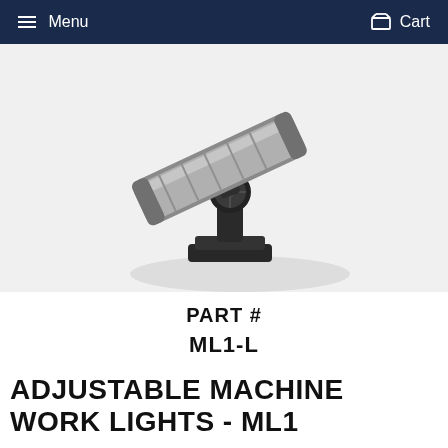Menu   Cart
[Figure (photo): A 3D rendered adjustable machine work light (ML1-L) mounted on a swivel bracket and base, shown against a light grey background. The light fixture is silver/grey, the mount hardware is black.]
PART #
ML1-L
ADJUSTABLE MACHINE WORK LIGHTS - ML1